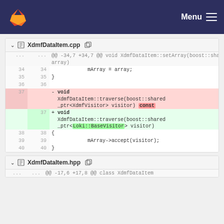GitLab navigation bar with logo and Menu
XdmfDataItem.cpp - diff panel showing removal of 'const' and replacement of XdmfVisitor with Loki::BaseVisitor
XdmfDataItem.hpp - diff panel header